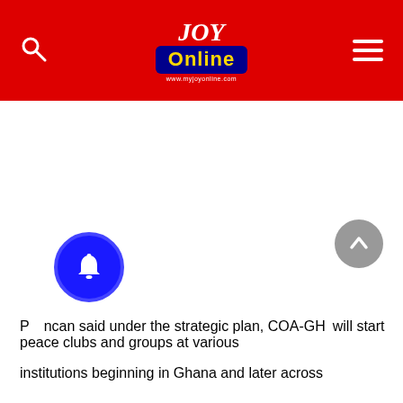JOY Online
P[...] ncan said under the strategic plan, COA-GH[...] will start peace clubs and groups at various institutions beginning in Ghana and later across